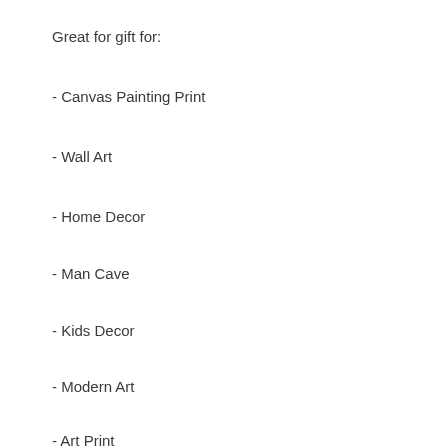Great for gift for:
- Canvas Painting Print
- Wall Art
- Home Decor
- Man Cave
- Kids Decor
- Modern Art
- Art Print
- Dorm Decor